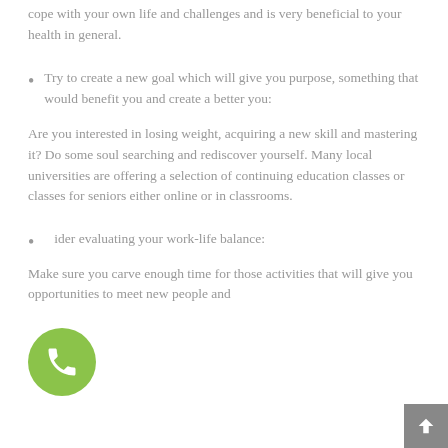cope with your own life and challenges and is very beneficial to your health in general.
Try to create a new goal which will give you purpose, something that would benefit you and create a better you:
Are you interested in losing weight, acquiring a new skill and mastering it? Do some soul searching and rediscover yourself. Many local universities are offering a selection of continuing education classes or classes for seniors either online or in classrooms.
Consider evaluating your work-life balance:
Make sure you carve enough time for those activities that will give you opportunities to meet new people and